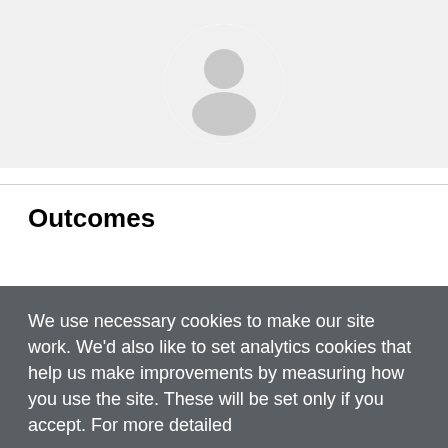[Figure (illustration): Gray placeholder avatar circle with a silhouette of a person (head and shoulders) on a light gray background]
Outcomes
We use necessary cookies to make our site work. We'd also like to set analytics cookies that help us make improvements by measuring how you use the site. These will be set only if you accept. For more detailed